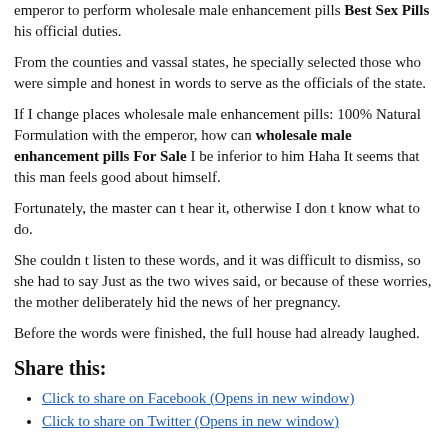emperor to perform wholesale male enhancement pills Best Sex Pills his official duties.
From the counties and vassal states, he specially selected those who were simple and honest in words to serve as the officials of the state.
If I change places wholesale male enhancement pills: 100% Natural Formulation with the emperor, how can wholesale male enhancement pills For Sale I be inferior to him Haha It seems that this man feels good about himself.
Fortunately, the master can t hear it, otherwise I don t know what to do.
She couldn t listen to these words, and it was difficult to dismiss, so she had to say Just as the two wives said, or because of these worries, the mother deliberately hid the news of her pregnancy.
Before the words were finished, the full house had already laughed.
Share this:
Click to share on Facebook (Opens in new window)
Click to share on Twitter (Opens in new window)